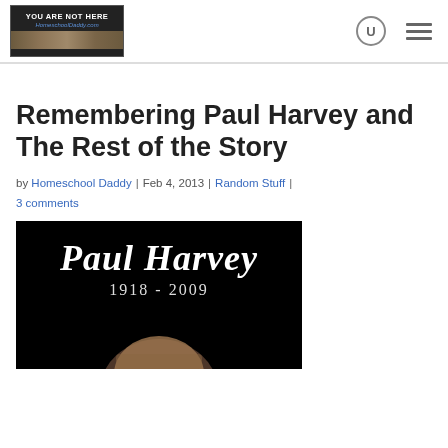YOU ARE NOT HERE | HomeschoolDaddy.com
Remembering Paul Harvey and The Rest of the Story
by Homeschool Daddy | Feb 4, 2013 | Random Stuff | 3 comments
[Figure (photo): Black background image with white serif italic text reading 'Paul Harvey' and below it '1918 - 2009', with a partial photo of Paul Harvey's face visible at the bottom right]